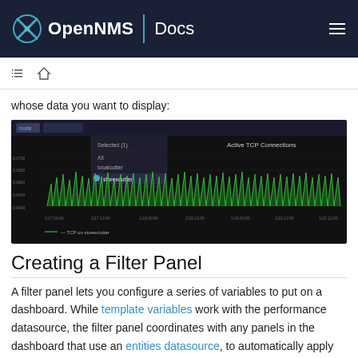OpenNMS | Docs
whose data you want to display:
[Figure (screenshot): Screenshot of OpenNMS dashboard showing Active TCP Connections line chart with a dropdown menu showing options: Selected (1), All, localcutter, storexcutter. The chart displays green spikes over a dark background with time axis from 1/17 06:00 to 1/20 12:00.]
Creating a Filter Panel
A filter panel lets you configure a series of variables to put on a dashboard. While template variables work with the performance datasource, the filter panel coordinates with any panels in the dashboard that use an entities datasource, to automatically apply